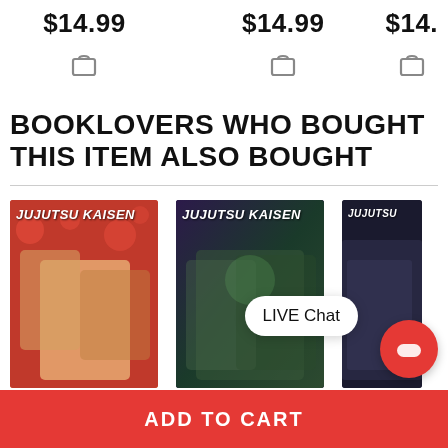$14.99  $14.99  $14.
BOOKLOVERS WHO BOUGHT THIS ITEM ALSO BOUGHT
[Figure (screenshot): Three Jujutsu Kaisen manga book covers shown in a horizontal row. First cover has red/orange background with manga art. Second has dark purple/green background with manga art. Third is partially cropped.]
LIVE Chat
ADD TO CART